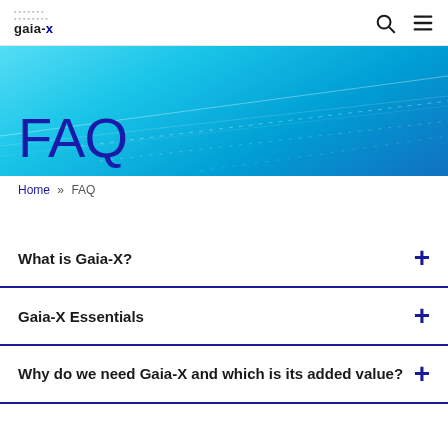gaia-x [logo with nav icons]
[Figure (illustration): Cyan/blue gradient hero banner with subtle geometric line patterns in lighter color]
FAQ
Home » FAQ
What is Gaia-X?
Gaia-X Essentials
Why do we need Gaia-X and which is its added value?